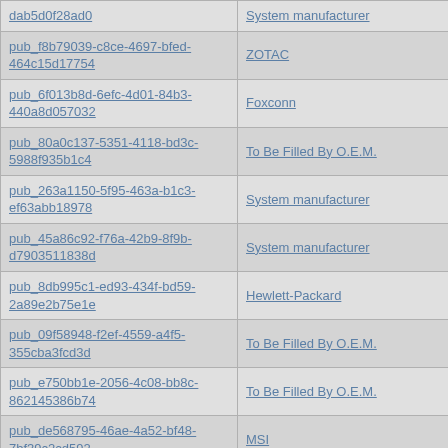| ID | Manufacturer |
| --- | --- |
| pub_...dab5d0f28ad0 | System manufacturer |
| pub_f8b79039-c8ce-4697-bfed-464c15d17754 | ZOTAC |
| pub_6f013b8d-6efc-4d01-84b3-440a8d057032 | Foxconn |
| pub_80a0c137-5351-4118-bd3c-5988f935b1c4 | To Be Filled By O.E.M. |
| pub_263a1150-5f95-463a-b1c3-ef63abb18978 | System manufacturer |
| pub_45a86c92-f76a-42b9-8f9b-d7903511838d | System manufacturer |
| pub_8db995c1-ed93-434f-bd59-2a89e2b75e1e | Hewlett-Packard |
| pub_09f58948-f2ef-4559-a4f5-355cba3fcd3d | To Be Filled By O.E.M. |
| pub_e750bb1e-2056-4c08-bb8c-862145386b74 | To Be Filled By O.E.M. |
| pub_de568795-46ae-4a52-bf48-7bf39c2cd592 | MSI |
| pub_b26ce996-db31-4121-962f-102e4e70feaf | Gigabyte Technology Co., Ltd. |
| pub_042309d1-ccfc-4a80-b5d7-e3274576f4b2 | Acer |
| pub_6a909b7c-3a21-4b78-ac48-6f1796bc1ff2 | ASUSTeK Computer INC. |
| pub_bdd0d8d1-0aa8-454e-a8ec-18f6a6e3d9cf | Gigabyte Technology Co., Ltd. |
| pub_901c57af-a4a4-40b6-b793-... | Gigabyte Technology Co., Ltd. |